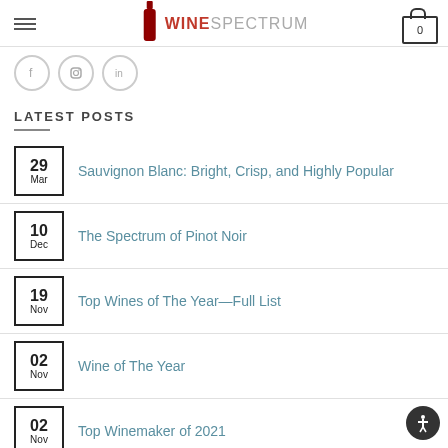WINESPECTRUM — navigation header with logo and cart
[Figure (other): Social media icon circles: Facebook, Instagram, LinkedIn]
LATEST POSTS
29 Mar — Sauvignon Blanc: Bright, Crisp, and Highly Popular
10 Dec — The Spectrum of Pinot Noir
19 Nov — Top Wines of The Year—Full List
02 Nov — Wine of The Year
02 Nov — Top Winemaker of 2021